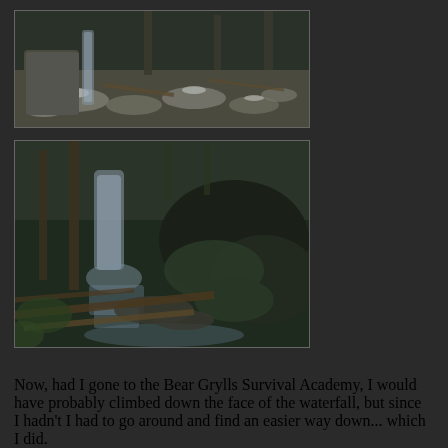[Figure (photo): Outdoor nature photo showing rocky terrain with scattered flat stones, some snow patches, fallen branches, and trees in a forest setting — upper waterfall area viewed from above]
[Figure (photo): Outdoor nature photo showing a waterfall cascading down over dark mossy rocks and boulders, with fallen tree trunks in the foreground, surrounded by forest trees — wider view of the waterfall scene]
Now, had I gone to the Bear Grylls Survival Academy, I would have probably climbed down the face of the waterfall, but since I hadn't I had to go around and find an easier way down... which I did.